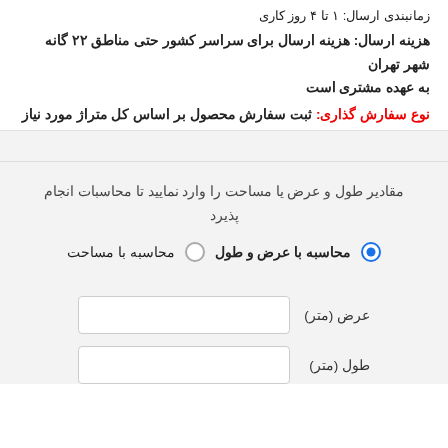زمانبندی ارسال: ۱ تا ۴ روز کاری
هزینه ارسال: هزینه ارسال برای سراسر کشور حتی مناطق ۲۲ گانه شهر تهران به عهده مشتری است
نوع سفارش گذاری: ثبت سفارش محصول بر اساس کل متراژ مورد نیاز
مقادیر طول و عرض یا مساحت را وارد نمایید تا محاسبات انجام پذیرد
محاسبه با مساحت  محاسبه با عرض و طول
عرض (متر)
طول (متر)